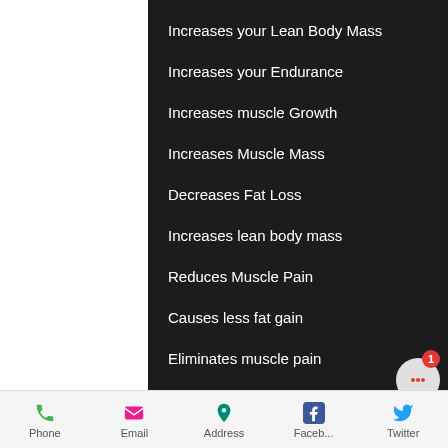Increases your Lean Body Mass
Increases your Endurance
Increases muscle Growth
Increases Muscle Mass
Decreases Fat Loss
Increases lean body mass
Reduces Muscle Pain
Causes less fat gain
Eliminates muscle pain
Phone  Email  Address  Faceb...  Twitter